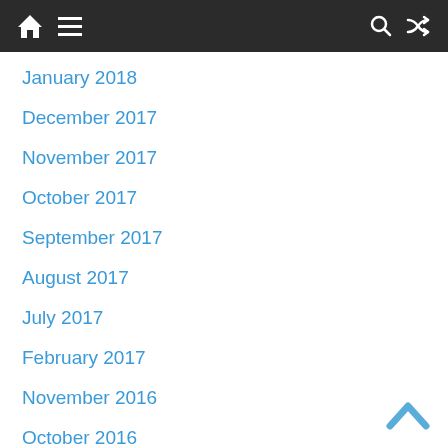Navigation bar with home, menu, search, shuffle icons
January 2018
December 2017
November 2017
October 2017
September 2017
August 2017
July 2017
February 2017
November 2016
October 2016
September 2016
August 2016
July 2016